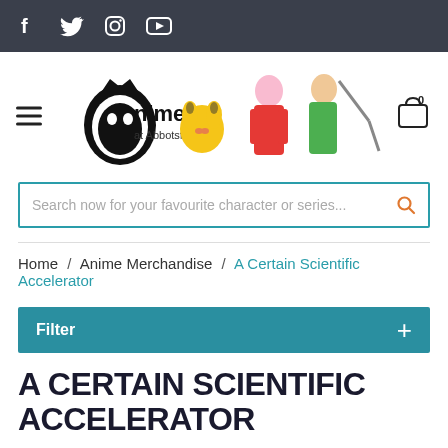Social media icons: Facebook, Twitter, Instagram, YouTube
[Figure (logo): Anime at Abbotsford store logo with anime character figures (Pikachu, pink-haired girl, girl with sword) and hamburger menu icon on left, shopping cart icon with 0 badge on right]
Search now for your favourite character or series...
Home / Anime Merchandise / A Certain Scientific Accelerator
Filter +
A CERTAIN SCIENTIFIC ACCELERATOR